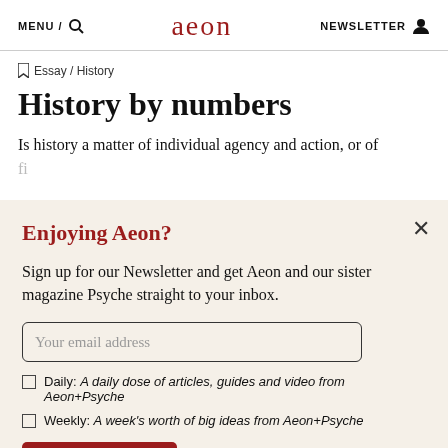MENU / [search] aeon NEWSLETTER [person icon]
Essay / History
History by numbers
Is history a matter of individual agency and action, or of fi...
Enjoying Aeon?
Sign up for our Newsletter and get Aeon and our sister magazine Psyche straight to your inbox.
Your email address
Daily: A daily dose of articles, guides and video from Aeon+Psyche
Weekly: A week's worth of big ideas from Aeon+Psyche
Sign up now
I'm already subscribed
Privacy policy